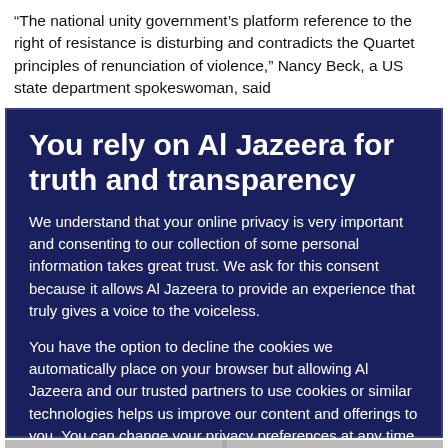"The national unity government's platform reference to the right of resistance is disturbing and contradicts the Quartet principles of renunciation of violence," Nancy Beck, a US state department spokeswoman, said
You rely on Al Jazeera for truth and transparency
We understand that your online privacy is very important and consenting to our collection of some personal information takes great trust. We ask for this consent because it allows Al Jazeera to provide an experience that truly gives a voice to the voiceless.
You have the option to decline the cookies we automatically place on your browser but allowing Al Jazeera and our trusted partners to use cookies or similar technologies helps us improve our content and offerings to you. You can change your privacy preferences at any time by selecting 'Cookie preferences' at the bottom of your screen. To learn more, please view our Cookie Policy.